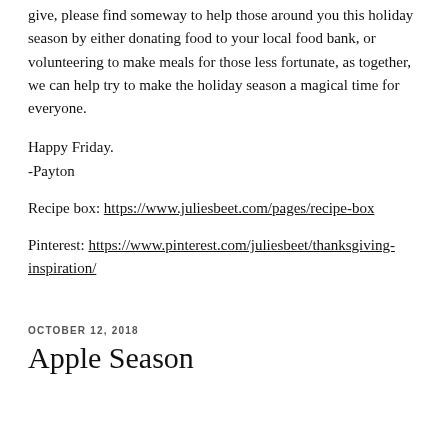give, please find someway to help those around you this holiday season by either donating food to your local food bank, or volunteering to make meals for those less fortunate, as together, we can help try to make the holiday season a magical time for everyone.
Happy Friday.
-Payton
Recipe box: https://www.juliesbeet.com/pages/recipe-box
Pinterest: https://www.pinterest.com/juliesbeet/thanksgiving-inspiration/
OCTOBER 12, 2018
Apple Season